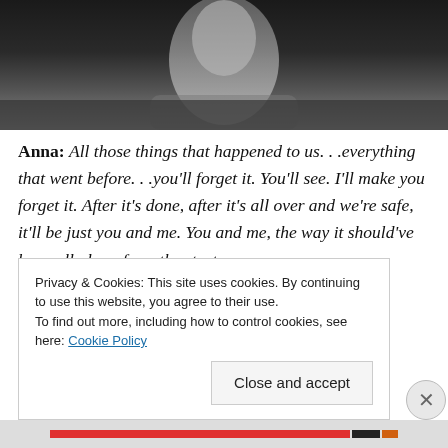[Figure (photo): Black and white photograph of a person, cropped at the top of the page showing face/upper body area]
Anna: All those things that happened to us. . .everything that went before. . .you'll forget it. You'll see. I'll make you forget it. After it's done, after it's all over and we're safe, it'll be just you and me. You and me, the way it should've been all along from the start.
Privacy & Cookies: This site uses cookies. By continuing to use this website, you agree to their use.
To find out more, including how to control cookies, see here: Cookie Policy
Close and accept